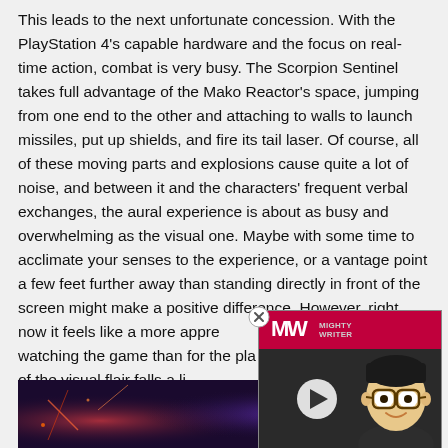This leads to the next unfortunate concession. With the PlayStation 4's capable hardware and the focus on real-time action, combat is very busy. The Scorpion Sentinel takes full advantage of the Mako Reactor's space, jumping from one end to the other and attaching to walls to launch missiles, put up shields, and fire its tail laser. Of course, all of these moving parts and explosions cause quite a lot of noise, and between it and the characters' frequent verbal exchanges, the aural experience is about as busy and overwhelming as the visual one. Maybe with some time to acclimate your senses to the experience, or a vantage point a few feet further away than standing directly in front of the screen might make a positive difference. However, right now it feels like a more appre... watching the game than for the pla... demo, all of the visual flair falls a li... a feeling that we may as well have... based experience anyway.
[Figure (other): Advertisement overlay with MW (Mighty Writer) logo on red background, play button, animated character (cartoon man with glasses), text 'BEST MATH GAMES' in red and white on dark background. Close button (X in circle) at top right.]
[Figure (photo): Dark screenshot from a video game showing a dark purple/magenta sci-fi scene, partially visible at bottom of page.]